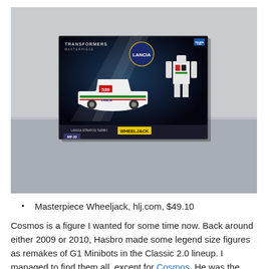[Figure (photo): A Transformers Masterpiece Wheeljack toy box sitting on a gray surface. The box shows the Lancia Stratos Turbo car (number 539) in white with green and red stripes, and a robot mode figure. The box has a Lancia logo and reads WHEELJACK MP-20.]
Masterpiece Wheeljack, hlj.com, $49.10
Cosmos is a figure I wanted for some time now. Back around either 2009 or 2010, Hasbro made some legend size figures as remakes of G1 Minibots in the Classic 2.0 lineup. I managed to find them all, except for Cosmos. He was the rarest one of the bunch, and scalpers